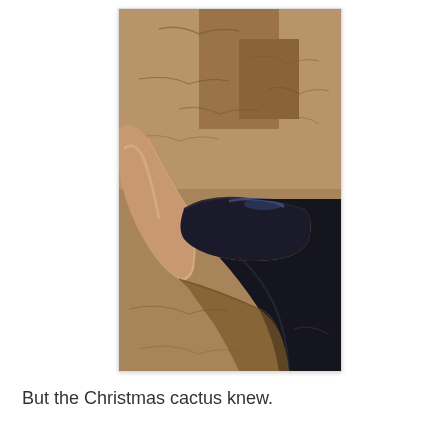[Figure (photo): A close-up photo taken from above showing a bare foot/leg and a black shoe on dry, sandy brown dirt ground. A shadow is cast on the ground below.]
But the Christmas cactus knew.